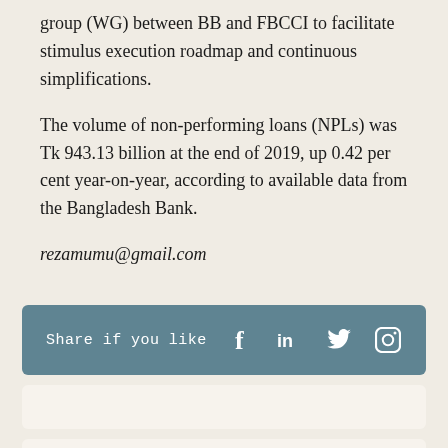group (WG) between BB and FBCCI to facilitate stimulus execution roadmap and continuous simplifications.
The volume of non-performing loans (NPLs) was Tk 943.13 billion at the end of 2019, up 0.42 per cent year-on-year, according to available data from the Bangladesh Bank.
rezamumu@gmail.com
Share if you like